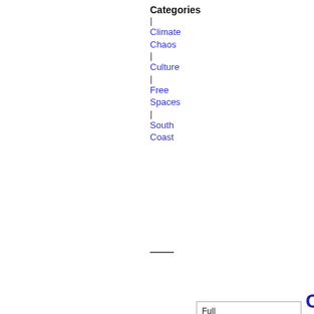Categories
| Climate Chaos
| Culture
| Free Spaces
| South Coast
Combe Haven Defenders Benefit Update
Full article | 1 comment
05-02-2013 09:08
Party & Defend!
Related Categories
| Culture
|